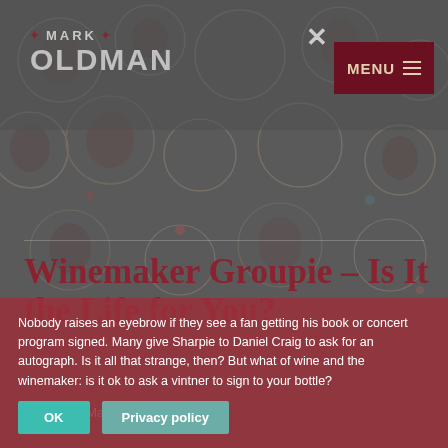MARK OLDMAN
Winemaker Groupie – Is It the Life for You?
Posted on March 22, 2013
Nobody raises an eyebrow if they see a fan getting his book or concert program signed. Many give Sharpie to Daniel Craig to ask for an autograph. Is it all that strange, then? But what of wine and the winemaker: is it ok to ask a vintner to sign to your bottle?
OK  Privacy policy (cookie consent overlay)